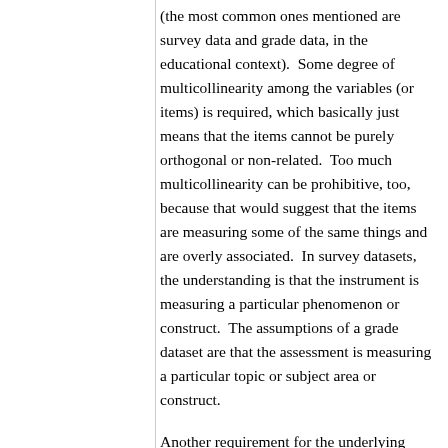(the most common ones mentioned are survey data and grade data, in the educational context).  Some degree of multicollinearity among the variables (or items) is required, which basically just means that the items cannot be purely orthogonal or non-related.  Too much multicollinearity can be prohibitive, too, because that would suggest that the items are measuring some of the same things and are overly associated.  In survey datasets, the understanding is that the instrument is measuring a particular phenomenon or construct.  The assumptions of a grade dataset are that the assessment is measuring a particular topic or subject area or construct.
Another requirement for the underlying data is that there have to be a sufficient number of cases to enable the extraction